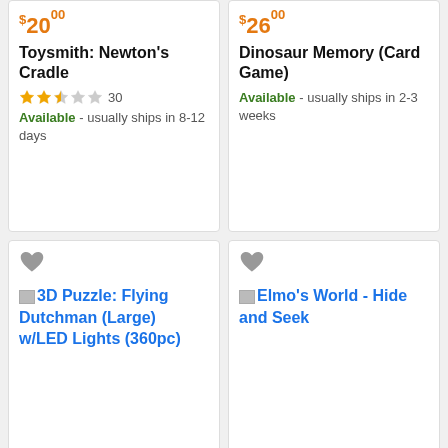[Figure (screenshot): Product card: Toysmith Newton's Cradle. Price $20.00, 2.5 star rating with 30 reviews, Available - usually ships in 8-12 days.]
[Figure (screenshot): Product card: Dinosaur Memory (Card Game). Price $26.00, Available - usually ships in 2-3 weeks.]
[Figure (screenshot): Product card: 3D Puzzle: Flying Dutchman (Large) w/LED Lights (360pc). Heart/wishlist icon shown. No price visible.]
[Figure (screenshot): Product card: Elmo's World - Hide and Seek. Heart/wishlist icon shown. No price visible.]